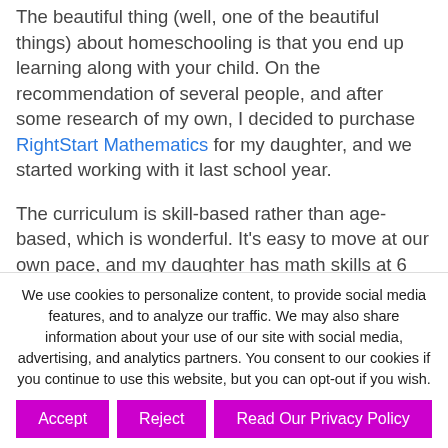The beautiful thing (well, one of the beautiful things) about homeschooling is that you end up learning along with your child. On the recommendation of several people, and after some research of my own, I decided to purchase RightStart Mathematics for my daughter, and we started working with it last school year.
The curriculum is skill-based rather than age-based, which is wonderful. It's easy to move at our own pace, and my daughter has math skills at 6
We use cookies to personalize content, to provide social media features, and to analyze our traffic. We may also share information about your use of our site with social media, advertising, and analytics partners. You consent to our cookies if you continue to use this website, but you can opt-out if you wish.